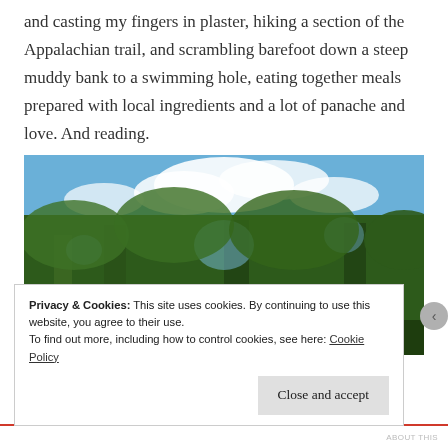and casting my fingers in plaster, hiking a section of the Appalachian trail, and scrambling barefoot down a steep muddy bank to a swimming hole, eating together meals prepared with local ingredients and a lot of panache and love. And reading.
[Figure (photo): Outdoor photograph of tall green trees with a blue sky and white clouds visible above them, taken looking upward from below the tree canopy.]
Privacy & Cookies: This site uses cookies. By continuing to use this website, you agree to their use.
To find out more, including how to control cookies, see here: Cookie Policy